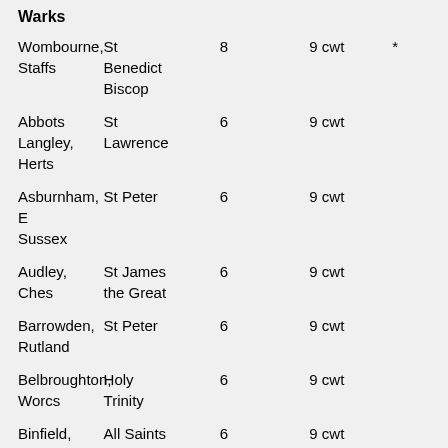| Location | Church | Bells | Weight | Note |
| --- | --- | --- | --- | --- |
| Warks |  |  |  |  |
| Wombourne, Staffs | St Benedict Biscop | 8 | 9 cwt | * |
| Abbots Langley, Herts | St Lawrence | 6 | 9 cwt |  |
| Asburnham, E Sussex | St Peter | 6 | 9 cwt |  |
| Audley, Ches | St James the Great | 6 | 9 cwt |  |
| Barrowden, Rutland | St Peter | 6 | 9 cwt |  |
| Belbroughton, Worcs | Holy Trinity | 6 | 9 cwt |  |
| Binfield, Berks | All Saints | 6 | 9 cwt |  |
| Blackrod, Gtr Man | St Catherine | 6 | 9 cwt |  |
| Burstow, Surrey | St Bartholomew | 6 | 9 cwt |  |
| Burton Bradstock, Dorset | St Mary | 6 | 9 cwt |  |
| Cadeleigh, Devon | St Bartholomew | 6 | 9 cwt |  |